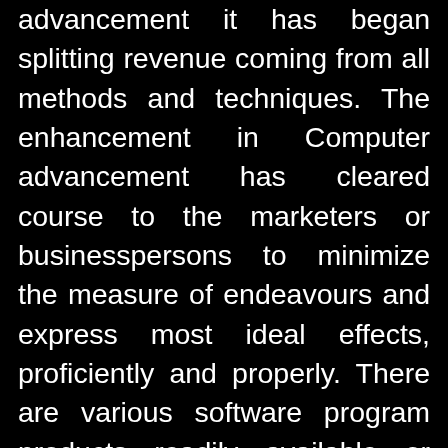advancement it has began splitting revenue coming from all methods and techniques. The enhancement in Computer advancement has cleared course to the marketers or businesspersons to minimize the measure of endeavours and express most ideal effects, proficiently and properly. There are various software program products readily available or created to have the offer of items or administrations of your connection simple and clean. The Laptop or computer development and popularity of Internet has strengthened the promoters to immediate company online. This kind of type of company is referred to as web based organization. In E-business, the things or